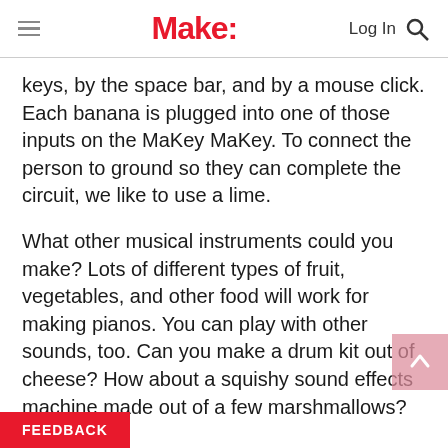Make:
keys, by the space bar, and by a mouse click. Each banana is plugged into one of those inputs on the MaKey MaKey. To connect the person to ground so they can complete the circuit, we like to use a lime.
What other musical instruments could you make? Lots of different types of fruit, vegetables, and other food will work for making pianos. You can play with other sounds, too. Can you make a drum kit out of cheese? How about a squishy sound effects machine made out of a few marshmallows?
FEEDBACK